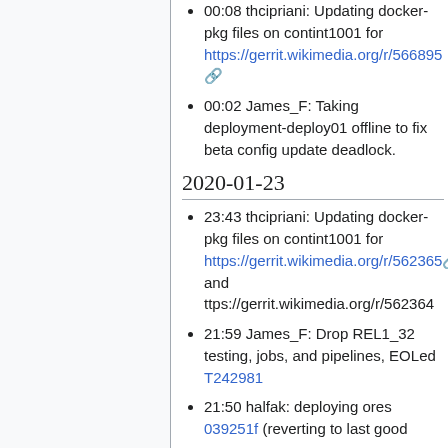00:08 thcipriani: Updating docker-pkg files on contint1001 for https://gerrit.wikimedia.org/r/566895
00:02 James_F: Taking deployment-deploy01 offline to fix beta config update deadlock.
2020-01-23
23:43 thcipriani: Updating docker-pkg files on contint1001 for https://gerrit.wikimedia.org/r/562365 and ttps://gerrit.wikimedia.org/r/562364
21:59 James_F: Drop REL1_32 testing, jobs, and pipelines, EOLed T242981
21:50 halfak: deploying ores 039251f (reverting to last good